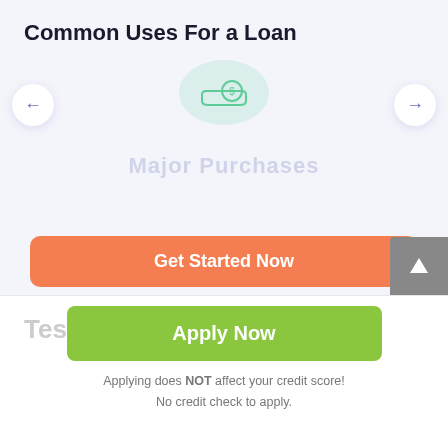Common Uses For a Loan
[Figure (illustration): Carousel with money/loan icon (a hand holding a coin with dollar sign), left and right navigation arrows, and faded text 'Major Purchases' in the slide area]
Get Started Now
Application is completely free of charge
Testimonials
Apply Now
Applying does NOT affect your credit score!
No credit check to apply.